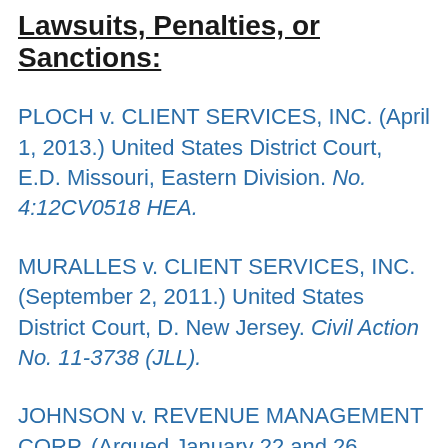Lawsuits, Penalties, or Sanctions:
PLOCH v. CLIENT SERVICES, INC. (April 1, 2013.) United States District Court, E.D. Missouri, Eastern Division. No. 4:12CV0518 HEA.
MURALLES v. CLIENT SERVICES, INC. (September 2, 2011.) United States District Court, D. New Jersey. Civil Action No. 11-3738 (JLL).
JOHNSON v. REVENUE MANAGEMENT CORP. (Argued January 22 and 26, 1999.) United States Court of Appeals, Seventh